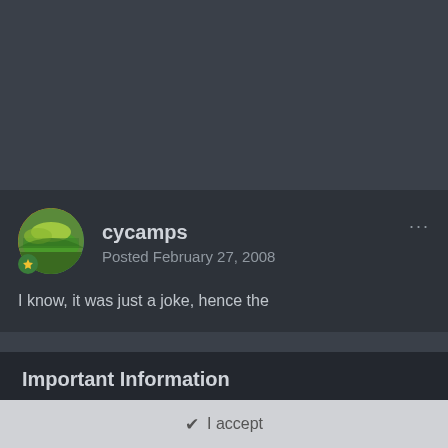[Figure (photo): Dark grey panel background, top portion of the page]
cycamps
Posted February 27, 2008
I know, it was just a joke, hence the
Important Information
Terms of Use https://themeparkreview.com/forum/topic/116-terms-of-service-please-read/
✔ I accept